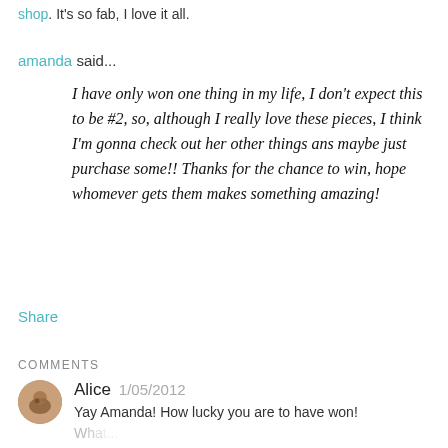shop. It's so fab, I love it all.
amanda said...
I have only won one thing in my life, I don't expect this to be #2, so, although I really love these pieces, I think I'm gonna check out her other things ans maybe just purchase some!! Thanks for the chance to win, hope whomever gets them makes something amazing!
Share
COMMENTS
Alice  1/05/2012
Yay Amanda! How lucky you are to have won! What...